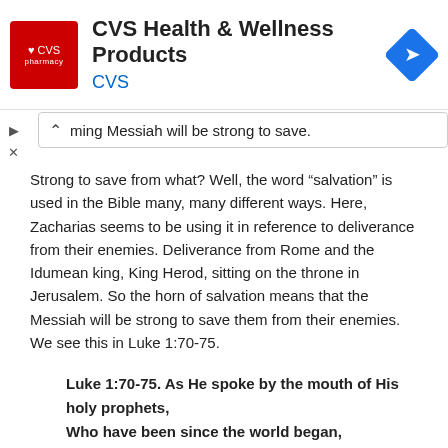[Figure (logo): CVS Health & Wellness Products advertisement banner with CVS pharmacy logo (red square with heart and CVS text), heading 'CVS Health & Wellness Products', subtitle 'CVS', and a blue direction arrow icon on the right]
ming Messiah will be strong to save.
Strong to save from what? Well, the word “salvation” is used in the Bible many, many different ways. Here, Zacharias seems to be using it in reference to deliverance from their enemies. Deliverance from Rome and the Idumean king, King Herod, sitting on the throne in Jerusalem. So the horn of salvation means that the Messiah will be strong to save them from their enemies. We see this in Luke 1:70-75.
Luke 1:70-75. As He spoke by the mouth of His holy prophets,
Who have been since the world began,
That we should be saved from our enemies
And from the hand of all who hate us,